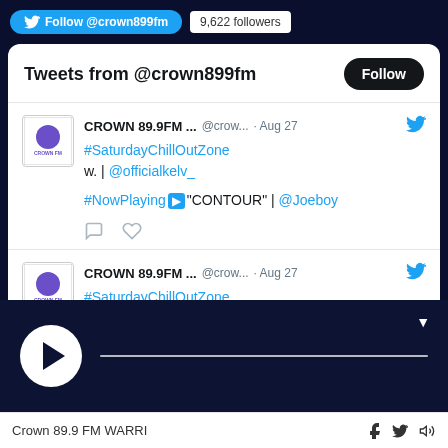[Figure (screenshot): Twitter Follow button with @crown899fm and 9,622 followers badge]
Tweets from @crown899fm
[Figure (screenshot): Tweet from CROWN 89.9FM ... @crow... Aug 27 - #SaturdayChillOutZone w. | @officialkelv_ #NowPlaying CONTOUR | @Joeboy]
[Figure (screenshot): Tweet from CROWN 89.9FM ... @crow... Aug 27 - #SaturdayChillOutZone w. | @officialkelv_]
[Figure (screenshot): Audio player bar with play button and progress line]
Crown 89.9 FM WARRI